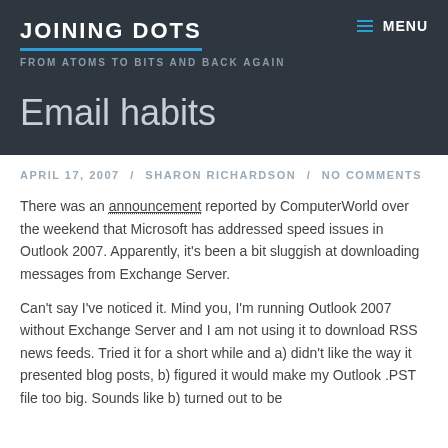JOINING DOTS
FROM ATOMS TO BITS AND BACK AGAIN
Email habits
APRIL 17, 2007  /  SHARON RICHARDSON  /  NO COMMENTS
There was an announcement reported by ComputerWorld over the weekend that Microsoft has addressed speed issues in Outlook 2007. Apparently, it's been a bit sluggish at downloading messages from Exchange Server.
Can't say I've noticed it. Mind you, I'm running Outlook 2007 without Exchange Server and I am not using it to download RSS news feeds. Tried it for a short while and a) didn't like the way it presented blog posts, b) figured it would make my Outlook .PST file too big. Sounds like b) turned out to be